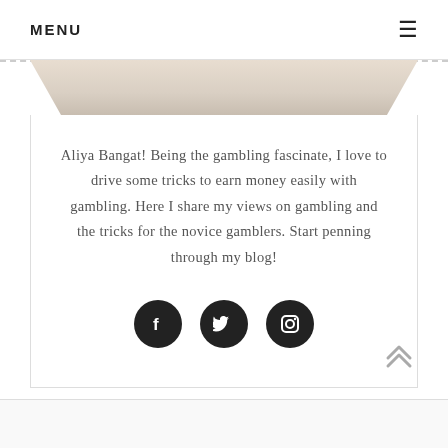MENU
[Figure (illustration): Decorative folded paper or image strip banner]
Aliya Bangat! Being the gambling fascinate, I love to drive some tricks to earn money easily with gambling. Here I share my views on gambling and the tricks for the novice gamblers. Start penning through my blog!
[Figure (infographic): Social media icons: Facebook, Twitter, Instagram — three black circular buttons]
[Figure (other): Scroll to top double chevron arrow icon]